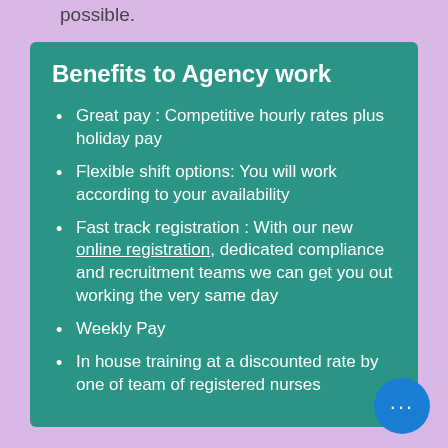possible.
Benefits to Agency work
Great pay : Competitive hourly rates plus holiday pay
Flexible shift options: You will work according to your availability
Fast track registration : With our new online registration, dedicated compliance and recruitment teams we can get you out working the very same day
Weekly Pay
In house training at a discounted rate by one of team of registered nurses